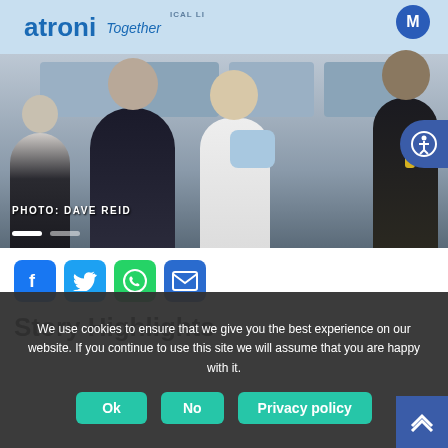[Figure (photo): Four people standing in a Medtronic medical equipment showroom. One person wearing a mask on the left, a man in a dark suit pointing at medical equipment in the center, a woman in white holding a device, and a man in a suit with a yellow tie on the right. Banner reads 'Medtronic Together' and 'Medical Line'.]
PHOTO: DAVE REID
[Figure (other): Social media share buttons: Facebook, Twitter, WhatsApp, Email]
Story Highlights
We use cookies to ensure that we give you the best experience on our website. If you continue to use this site we will assume that you are happy with it.